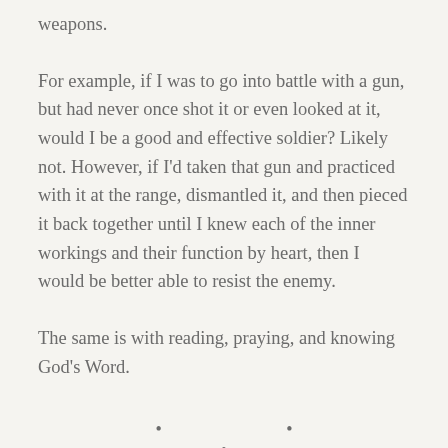weapons.
For example, if I was to go into battle with a gun, but had never once shot it or even looked at it, would I be a good and effective soldier? Likely not. However, if I'd taken that gun and practiced with it at the range, dismantled it, and then pieced it back together until I knew each of the inner workings and their function by heart, then I would be better able to resist the enemy.
The same is with reading, praying, and knowing God's Word.
· · ·